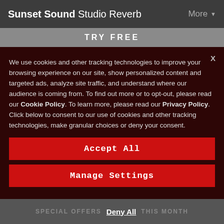Sunset Sound Studio Reverb   More
TRY  FREE
We use cookies and other tracking technologies to improve your browsing experience on our site, show personalized content and targeted ads, analyze site traffic, and understand where our audience is coming from. To find out more or to opt-out, please read our Cookie Policy. To learn more, please read our Privacy Policy. Click below to consent to our use of cookies and other tracking technologies, make granular choices or deny your consent.
Accept All
Manage Settings
SPECIAL OFFERS   Deny All   THIS MONTH